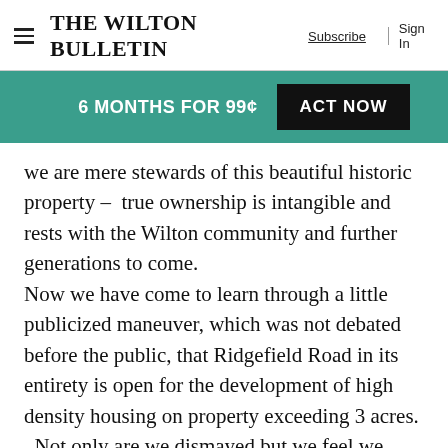The Wilton Bulletin  Subscribe  Sign In
6 MONTHS FOR 99¢  ACT NOW
we are mere stewards of this beautiful historic property –  true ownership is intangible and rests with the Wilton community and further generations to come. Now we have come to learn through a little publicized maneuver, which was not debated before the public, that Ridgefield Road in its entirety is open for the development of high density housing on property exceeding 3 acres. Not only are we dismayed but we feel we have